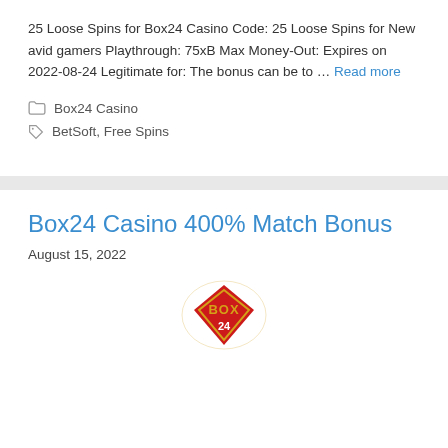25 Loose Spins for Box24 Casino Code: 25 Loose Spins for New avid gamers Playthrough: 75xB Max Money-Out: Expires on 2022-08-24 Legitimate for: The bonus can be to … Read more
Box24 Casino
BetSoft, Free Spins
Box24 Casino 400% Match Bonus
August 15, 2022
[Figure (logo): Box24 Casino logo — gold and red shield/diamond shape with BOX24 text]